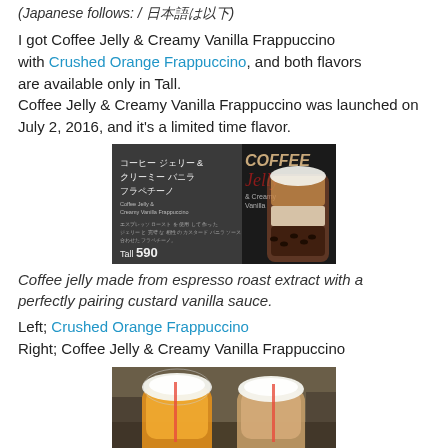(Japanese follows: / 日本語は以下)
I got Coffee Jelly & Creamy Vanilla Frappuccino with Crushed Orange Frappuccino, and both flavors are available only in Tall.
Coffee Jelly & Creamy Vanilla Frappuccino was launched on July 2, 2016, and it's a limited time flavor.
[Figure (photo): Starbucks Japan menu sign showing Coffee Jelly & Creamy Vanilla Frappuccino (コーヒー ジェリー & クリーミー バニラ フラペチーノ) priced at Tall 590 yen, with layered drink image and COFFEE Jelly branding]
Coffee jelly made from espresso roast extract with a perfectly pairing custard vanilla sauce.
Left; Crushed Orange Frappuccino
Right; Coffee Jelly & Creamy Vanilla Frappuccino
[Figure (photo): Two Starbucks frappuccinos with whipped cream domes in a Starbucks store — left is orange-colored (Crushed Orange Frappuccino), right is cream/coffee colored (Coffee Jelly & Creamy Vanilla Frappuccino)]